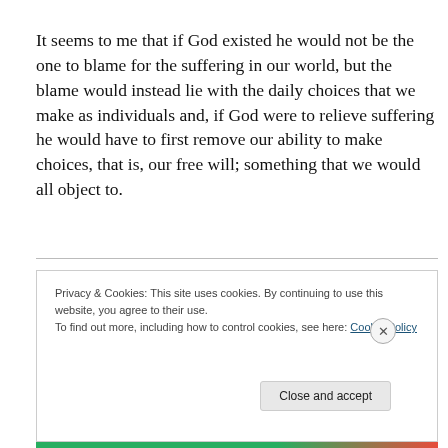It seems to me that if God existed he would not be the one to blame for the suffering in our world, but the blame would instead lie with the daily choices that we make as individuals and, if God were to relieve suffering he would have to first remove our ability to make choices, that is, our free will; something that we would all object to.
Privacy & Cookies: This site uses cookies. By continuing to use this website, you agree to their use.
To find out more, including how to control cookies, see here: Cookie Policy
Close and accept